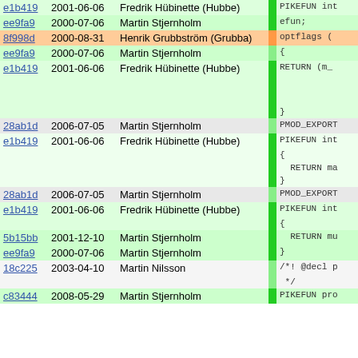| hash | date | author | bar | code |
| --- | --- | --- | --- | --- |
| e1b419 | 2001-06-06 | Fredrik Hübinette (Hubbe) |  | PIKEFUN int |
| ee9fa9 | 2000-07-06 | Martin Stjernholm |  | efun; |
| 8f998d | 2000-08-31 | Henrik Grubbström (Grubba) |  | optflags ( |
| ee9fa9 | 2000-07-06 | Martin Stjernholm |  | { |
| e1b419 | 2001-06-06 | Fredrik Hübinette (Hubbe) |  | RETURN (m_
} |
| 28ab1d | 2006-07-05 | Martin Stjernholm |  | PMOD_EXPORT |
| e1b419 | 2001-06-06 | Fredrik Hübinette (Hubbe) |  | PIKEFUN int
{
  RETURN ma
} |
| 28ab1d | 2006-07-05 | Martin Stjernholm |  | PMOD_EXPORT |
| e1b419 | 2001-06-06 | Fredrik Hübinette (Hubbe) |  | PIKEFUN int
{ |
| 5b15bb | 2001-12-10 | Martin Stjernholm |  |   RETURN mu |
| ee9fa9 | 2000-07-06 | Martin Stjernholm |  | } |
| 18c225 | 2003-04-10 | Martin Nilsson |  | /*! @decl p
 */ |
| c83444 | 2008-05-29 | Martin Stjernholm |  | PIKEFUN pro |